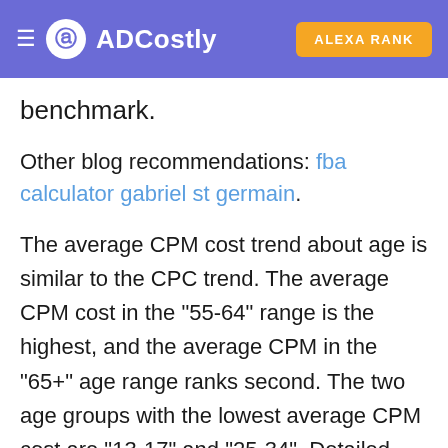ADCostly | ALEXA RANK
benchmark.
Other blog recommendations: fba calculator gabriel st germain.
The average CPM cost trend about age is similar to the CPC trend. The average CPM cost in the "55-64" range is the highest, and the average CPM in the "65+" age range ranks second. The two age groups with the lowest average CPM cost are "13-17" and "25-34". Detailed average CPM data of age and gender can be queried by ADCostly